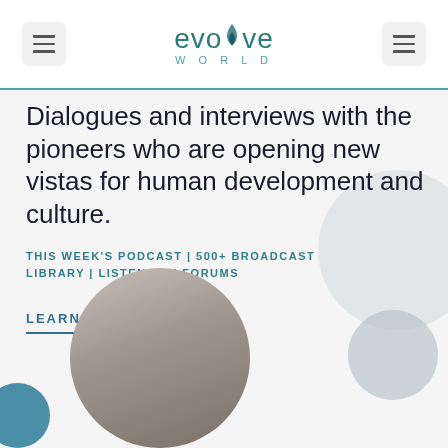evolve WORLD
Dialogues and interviews with the pioneers who are opening new vistas for human development and culture.
THIS WEEK'S PODCAST | 500+ BROADCAST LIBRARY | LISTENERS' FORUMS
LEARN MORE
[Figure (photo): Circular cropped photos of people at the bottom of the page]